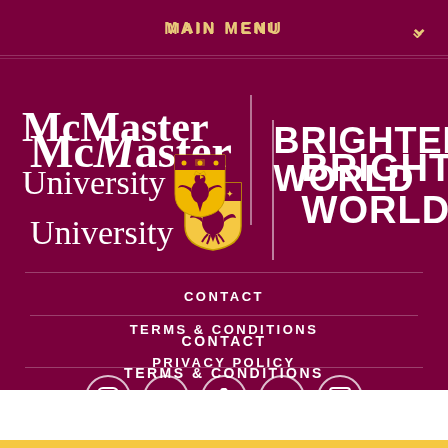MAIN MENU
[Figure (logo): McMaster University logo with shield crest and 'BRIGHTER WORLD' tagline]
CONTACT
TERMS & CONDITIONS
PRIVACY POLICY
[Figure (infographic): Social media icons row: Instagram, Twitter, Facebook, YouTube, LinkedIn]
CART 0